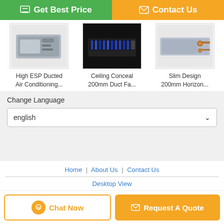[Figure (screenshot): Get Best Price button (green) and Contact Us button (orange) at top]
[Figure (photo): High ESP Ducted Air Conditioning product thumbnail]
High ESP Ducted Air Conditioning...
[Figure (photo): Ceiling Conceal 200mm Duct Fa... product thumbnail]
Ceiling Conceal 200mm Duct Fa...
[Figure (photo): Slim Design 200mm Horizon... product thumbnail]
Slim Design 200mm Horizon...
Change Language
english
Home | About Us | Contact Us
Desktop View
China Ceiling concealed-fan coil unit types Supplier. Copyright © 2016 - 2022 dekon-china.com. All rights reserved. Developed by ECER